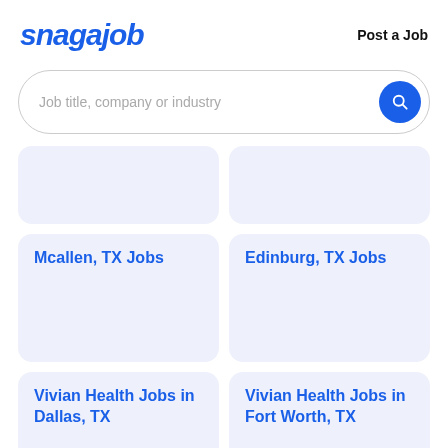snagajob
Post a Job
Job title, company or industry
Mcallen, TX Jobs
Edinburg, TX Jobs
Vivian Health Jobs in Dallas, TX
Vivian Health Jobs in Fort Worth, TX